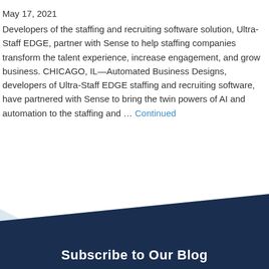May 17, 2021
Developers of the staffing and recruiting software solution, Ultra-Staff EDGE, partner with Sense to help staffing companies transform the talent experience, increase engagement, and grow business. CHICAGO, IL—Automated Business Designs, developers of Ultra-Staff EDGE staffing and recruiting software, have partnered with Sense to bring the twin powers of AI and automation to the staffing and ... Continued
[Figure (illustration): Dark navy blue diagonal banner shape serving as footer background with a light blue triangular accent, containing 'Subscribe to Our Blog' text in white bold font.]
Subscribe to Our Blog